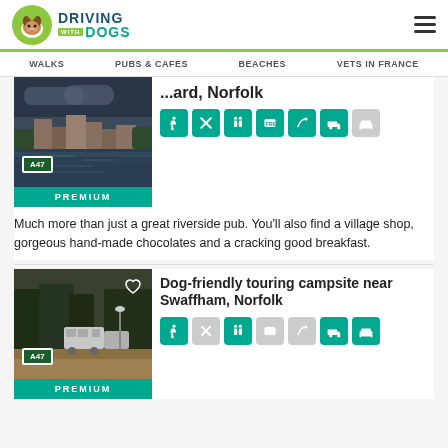Driving with Dogs
WALKS | PUBS & CAFES | BEACHES | VETS IN FRANCE
[Figure (photo): Riverside pub scene with water reflection and dark cloudy sky, with A47 road badge and PREMIUM bar]
...ard, Norfolk
Much more than just a great riverside pub. You'll also find a village shop, gorgeous hand-made chocolates and a cracking good breakfast.
[Figure (photo): Dog-friendly touring campsite with caravans among trees, A47 road badge and PREMIUM bar]
Dog-friendly touring campsite near Swaffham, Norfolk